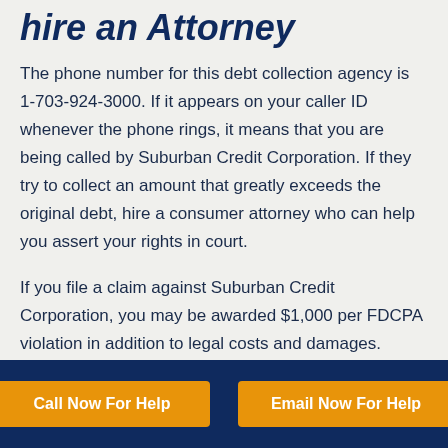hire an Attorney
The phone number for this debt collection agency is 1-703-924-3000. If it appears on your caller ID whenever the phone rings, it means that you are being called by Suburban Credit Corporation. If they try to collect an amount that greatly exceeds the original debt, hire a consumer attorney who can help you assert your rights in court.
If you file a claim against Suburban Credit Corporation, you may be awarded $1,000 per FDCPA violation in addition to legal costs and damages. Awards like these send a message to debt collectors that when they ignore consumer rights,
Call Now For Help | Email Now For Help